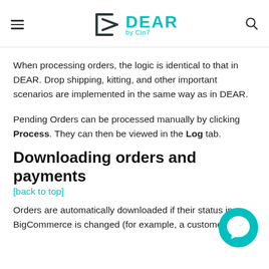DEAR by Cin7
When processing orders, the logic is identical to that in DEAR. Drop shipping, kitting, and other important scenarios are implemented in the same way as in DEAR.
Pending Orders can be processed manually by clicking Process. They can then be viewed in the Log tab.
Downloading orders and payments
[back to top]
Orders are automatically downloaded if their status in BigCommerce is changed (for example, a customer